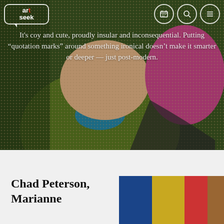[Figure (screenshot): Website screenshot of artseek.com showing a pop-art style illustrated image (colorful Lichtenstein-like figures in green, pink, blue) with overlaid white text reading a critical quote about post-modern art, a logo box labeled 'artseek' with nav icons (calendar, search, menu) in top right]
It's coy and cute, proudly insular and inconsequential. Putting “quotation marks” around something ironcal doesn't make it smarter or deeper — just post-modern.
Chad Peterson, Marianne